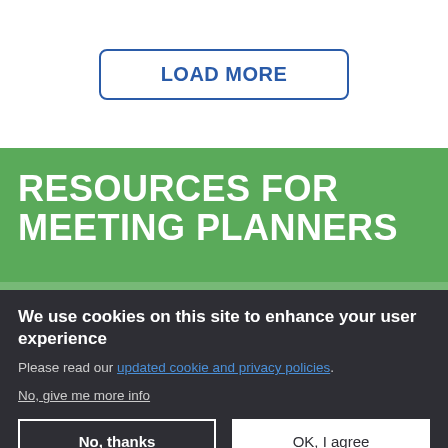LOAD MORE
RESOURCES FOR MEETING PLANNERS
We use cookies on this site to enhance your user experience
Please read our updated cookie and privacy policies.
No, give me more info
No, thanks
OK, I agree